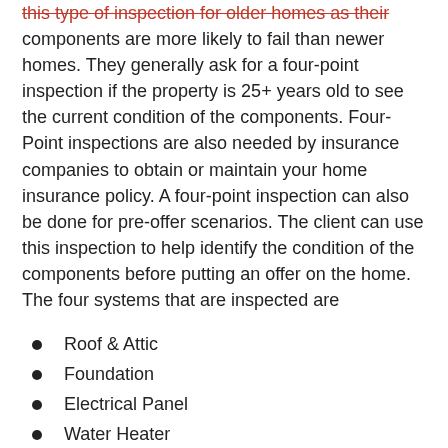this type of inspection for older homes as their components are more likely to fail than newer homes. They generally ask for a four-point inspection if the property is 25+ years old to see the current condition of the components. Four-Point inspections are also needed by insurance companies to obtain or maintain your home insurance policy. A four-point inspection can also be done for pre-offer scenarios. The client can use this inspection to help identify the condition of the components before putting an offer on the home. The four systems that are inspected are
Roof & Attic
Foundation
Electrical Panel
Water Heater
HVAC System